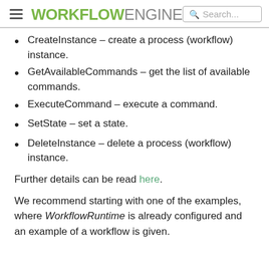WORKFLOWENGINE  Search...
CreateInstance – create a process (workflow) instance.
GetAvailableCommands – get the list of available commands.
ExecuteCommand – execute a command.
SetState – set a state.
DeleteInstance – delete a process (workflow) instance.
Further details can be read here.
We recommend starting with one of the examples, where WorkflowRuntime is already configured and an example of a workflow is given.